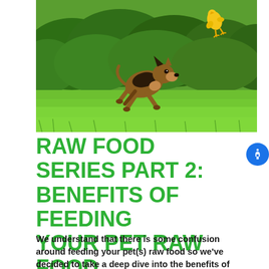[Figure (photo): A German Shepherd puppy running on green grass, with a yellow rubber chicken toy visible in the upper right background. Lush green hedge/bushes in the background.]
RAW FOOD SERIES PART 2: BENEFITS OF FEEDING YOUR PET RAW FOOD
We understand that there is some confusion around feeding your pet(s) raw food so we've decided to take a deep dive into the benefits of...